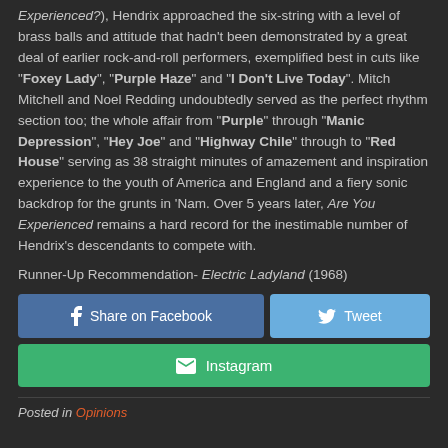Experienced?), Hendrix approached the six-string with a level of brass balls and attitude that hadn't been demonstrated by a great deal of earlier rock-and-roll performers, exemplified best in cuts like "Foxey Lady", "Purple Haze" and "I Don't Live Today". Mitch Mitchell and Noel Redding undoubtedly served as the perfect rhythm section too; the whole affair from "Purple" through "Manic Depression", "Hey Joe" and "Highway Chile" through to "Red House" serving as 38 straight minutes of amazement and inspiration experience to the youth of America and England and a fiery sonic backdrop for the grunts in 'Nam. Over 5 years later, Are You Experienced remains a hard record for the inestimable number of Hendrix's descendants to compete with.
Runner-Up Recommendation- Electric Ladyland (1968)
[Figure (other): Share on Facebook button, Tweet button, Instagram button]
Posted in Opinions